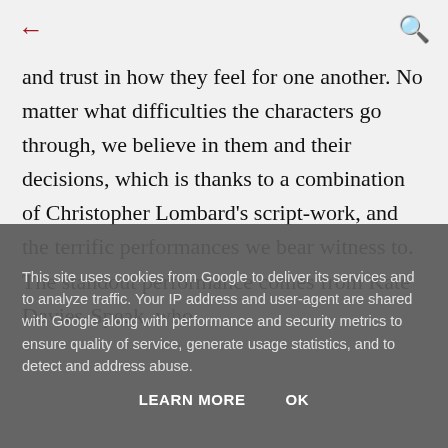← [back] [search]
and trust in how they feel for one another. No matter what difficulties the characters go through, we believe in them and their decisions, which is thanks to a combination of Christopher Lombard's script-work, and the terrific performances we bear witness to. The standout performance comes from Kate Davies-Speak, who
This site uses cookies from Google to deliver its services and to analyze traffic. Your IP address and user-agent are shared with Google along with performance and security metrics to ensure quality of service, generate usage statistics, and to detect and address abuse.
LEARN MORE   OK